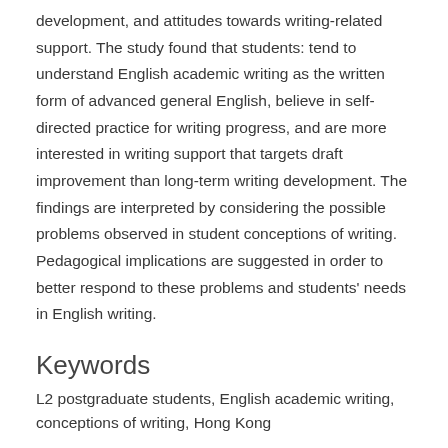development, and attitudes towards writing-related support. The study found that students: tend to understand English academic writing as the written form of advanced general English, believe in self-directed practice for writing progress, and are more interested in writing support that targets draft improvement than long-term writing development. The findings are interpreted by considering the possible problems observed in student conceptions of writing. Pedagogical implications are suggested in order to better respond to these problems and students' needs in English writing.
Keywords
L2 postgraduate students, English academic writing, conceptions of writing, Hong Kong